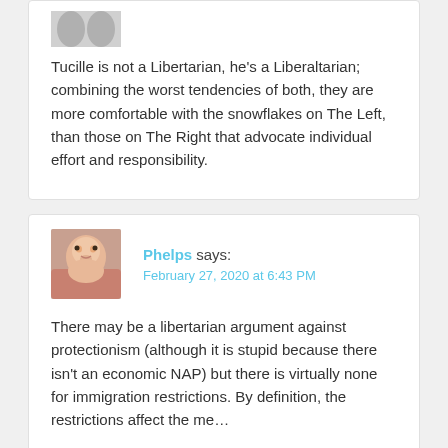Tucille is not a Libertarian, he’s a Liberaltarian; combining the worst tendencies of both, they are more comfortable with the snowflakes on The Left, than those on The Right that advocate individual effort and responsibility.
Phelps says: February 27, 2020 at 6:43 PM
There may be a libertarian argument against protectionism (although it is stupid because there isn’t an economic NAP) but there is virtually none for immigration restrictions. By definition, the restrictions affect the me...